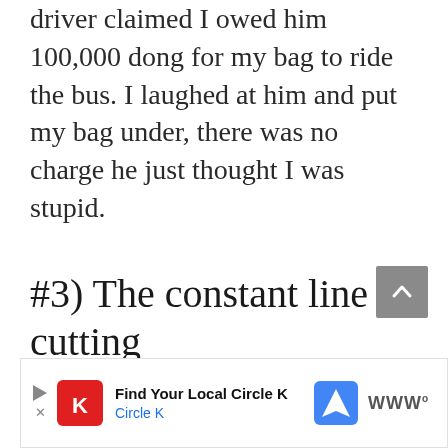driver claimed I owed him 100,000 dong for my bag to ride the bus. I laughed at him and put my bag under, there was no charge he just thought I was stupid.
#3) The constant line cutting
[Figure (other): Gray scroll-to-top button with upward chevron arrow]
[Figure (other): Advertisement banner for Circle K with play/close controls, Circle K red logo, Find Your Local Circle K text, navigation icon, and Waze logo]